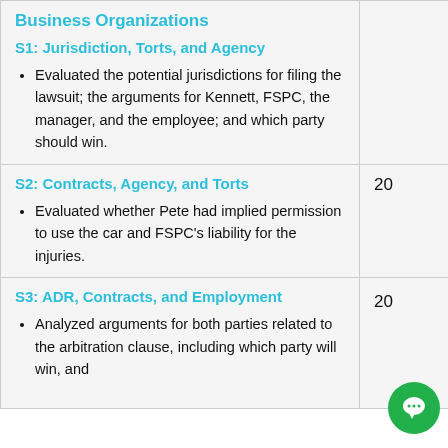Business Organizations
S1: Jurisdiction, Torts, and Agency
Evaluated the potential jurisdictions for filing the lawsuit; the arguments for Kennett, FSPC, the manager, and the employee; and which party should win.
S2: Contracts, Agency, and Torts
Evaluated whether Pete had implied permission to use the car and FSPC's liability for the injuries.
S3: ADR, Contracts, and Employment
Analyzed arguments for both parties related to the arbitration clause, including which party will win, and